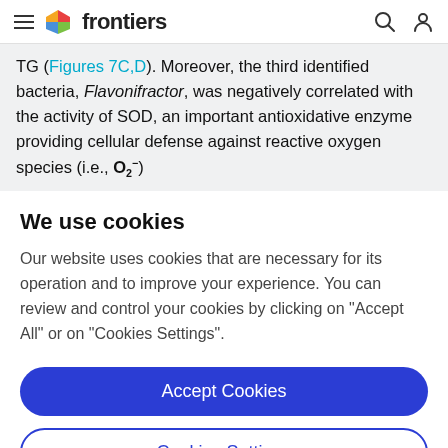frontiers
TG (Figures 7C,D). Moreover, the third identified bacteria, Flavonifractor, was negatively correlated with the activity of SOD, an important antioxidative enzyme providing cellular defense against reactive oxygen species (i.e., O2−)
We use cookies
Our website uses cookies that are necessary for its operation and to improve your experience. You can review and control your cookies by clicking on "Accept All" or on "Cookies Settings".
Accept Cookies
Cookies Settings